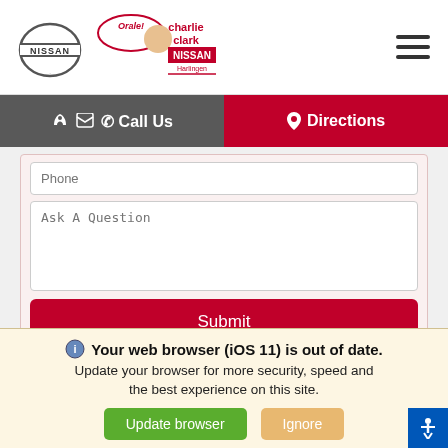[Figure (logo): Nissan logo (circle with NISSAN text) on the left, Orale! Charlie Clark Nissan Harlingen logo with person in center, hamburger menu icon on right]
[Figure (screenshot): Navigation bar with Call Us (dark gray) and Directions (red) buttons]
[Figure (screenshot): Contact form with Phone input, Ask A Question textarea, and Submit button, plus a lower white box]
Your web browser (iOS 11) is out of date. Update your browser for more security, speed and the best experience on this site.
Update browser   Ignore